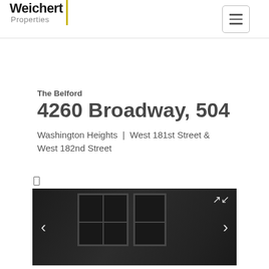Weichert Properties
The Belford
4260 Broadway, 504
Washington Heights  |  West 181st Street & West 182nd Street
[Figure (photo): Dark interior room photo showing windows, used as property listing image in a carousel with left/right navigation arrows and expand icon]